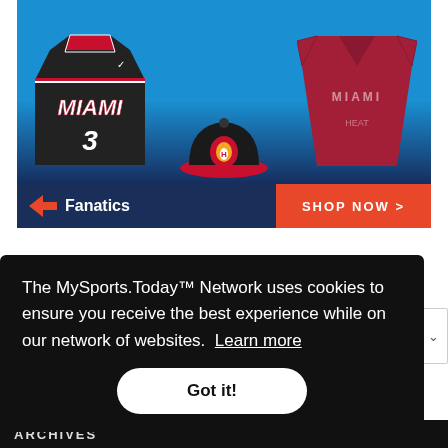[Figure (photo): Fanatics Miami Heat fan gear advertisement banner showing a black Miami #3 jersey, a red Miami t-shirt, a Miami Heat cap, Fanatics logo, and a 'SHOP NOW' button]
The MySports.Today™ Network uses cookies to ensure you receive the best experience while on our network of websites. Learn more
Got it!
ARCHIVES